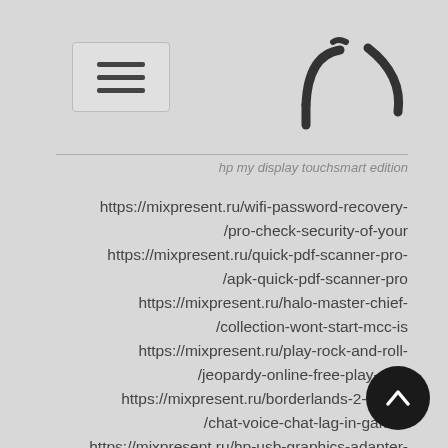[Figure (logo): Partial logo with curved bracket-like glyphs in dark gray, top right area]
hp my display touchsmart edition
https://mixpresent.ru/wifi-password-recovery-/pro-check-security-of-your
https://mixpresent.ru/quick-pdf-scanner-pro-/apk-quick-pdf-scanner-pro
https://mixpresent.ru/halo-master-chief-/collection-wont-start-mcc-is
https://mixpresent.ru/play-rock-and-roll-/jeopardy-online-free-play-rock
https://mixpresent.ru/borderlands-2-voice-/chat-voice-chat-lag-in-games
https://mixpresent.ru/hp-usb-graphics-adapter-/driver-windows-7-subscribe
https://mixpresent.ru/linksys-wmp54g-v4-1-/driver-wmp54g-downloads